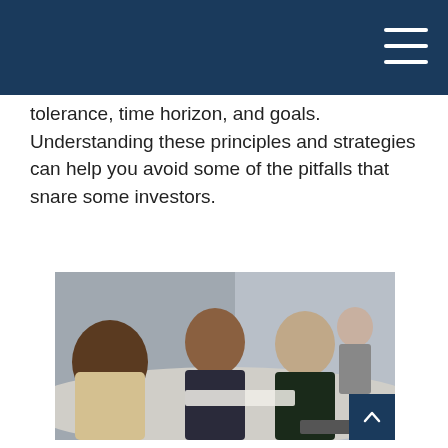tolerance, time horizon, and goals. Understanding these principles and strategies can help you avoid some of the pitfalls that snare some investors.
[Figure (photo): Three people sitting at a table in a professional meeting — a financial advisor and two clients reviewing documents together. A fourth person is visible in the background. Overlaid with a 'Featured Video' label in the upper left of the image.]